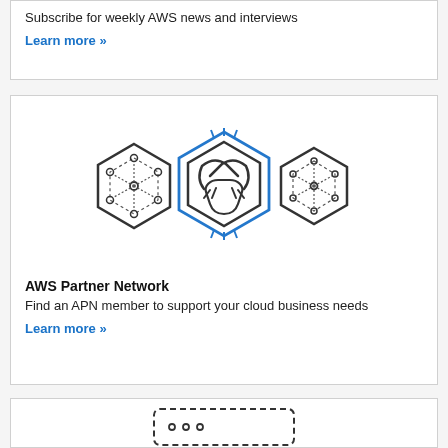Subscribe for weekly AWS news and interviews
Learn more »
[Figure (illustration): Three hexagon icons: left hexagon with network nodes connected by dashed lines, center hexagon (highlighted in blue outline) with two hands shaking and radiating lines, right hexagon with network nodes connected by dashed lines]
AWS Partner Network
Find an APN member to support your cloud business needs
Learn more »
[Figure (illustration): Partial view of a laptop/monitor icon with dashed border at bottom of page]